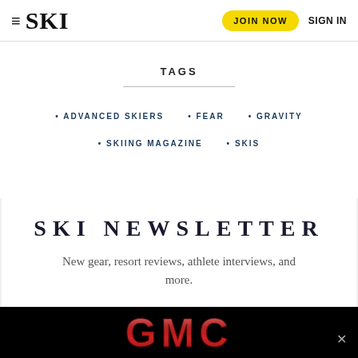SKI — JOIN NOW | SIGN IN
TAGS
ADVANCED SKIERS
FEAR
GRAVITY
SKIING MAGAZINE
SKIS
SKI NEWSLETTER
New gear, resort reviews, athlete interviews, and more.
[Figure (logo): GMC logo advertisement on black background]